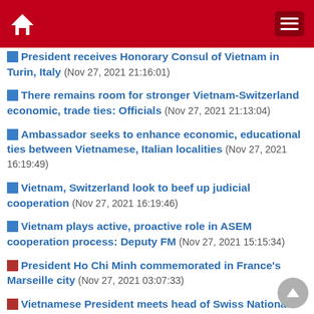Home / Menu navigation bar
President receives Honorary Consul of Vietnam in Turin, Italy (Nov 27, 2021 21:16:01)
There remains room for stronger Vietnam-Switzerland economic, trade ties: Officials (Nov 27, 2021 21:13:04)
Ambassador seeks to enhance economic, educational ties between Vietnamese, Italian localities (Nov 27, 2021 16:19:49)
Vietnam, Switzerland look to beef up judicial cooperation (Nov 27, 2021 16:19:46)
Vietnam plays active, proactive role in ASEM cooperation process: Deputy FM (Nov 27, 2021 15:15:34)
President Ho Chi Minh commemorated in France's Marseille city (Nov 27, 2021 03:07:33)
Vietnamese President meets head of Swiss National Council (Nov 27, 2021 08:34:22)
Switzerland hopes for early signing of FTA between Vietnam, EFTA (Nov 27, 2021 08:13:49)